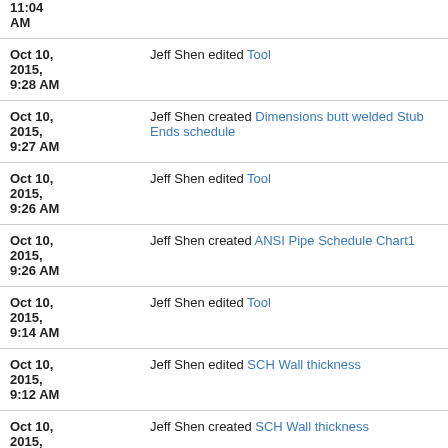11:04 AM | (partial, top cut off)
Oct 10, 2015, 9:28 AM — Jeff Shen edited Tool
Oct 10, 2015, 9:27 AM — Jeff Shen created Dimensions butt welded Stub Ends schedule
Oct 10, 2015, 9:26 AM — Jeff Shen edited Tool
Oct 10, 2015, 9:26 AM — Jeff Shen created ANSI Pipe Schedule Chart1
Oct 10, 2015, 9:14 AM — Jeff Shen edited Tool
Oct 10, 2015, 9:12 AM — Jeff Shen edited SCH Wall thickness
Oct 10, 2015, 9:11 AM — Jeff Shen created SCH Wall thickness
Oct 10, 2015, 9:11 AM — Jeff Shen edited Tool